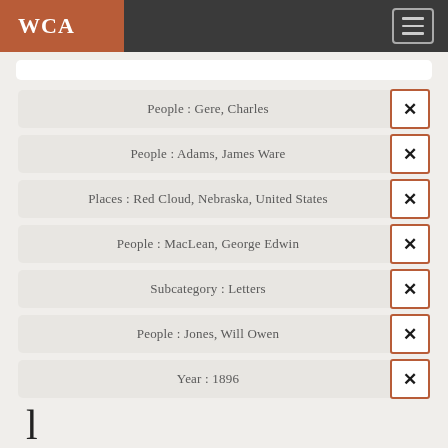WCA
People : Gere, Charles
People : Adams, James Ware
Places : Red Cloud, Nebraska, United States
People : MacLean, George Edwin
Subcategory : Letters
People : Jones, Will Owen
Year : 1896
l